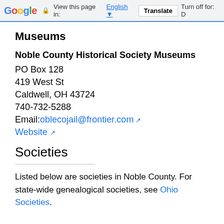Google | View this page in: English ▼ | Translate | Turn off for: D
Museums
Noble County Historical Society Museums
PO Box 128
419 West St
Caldwell, OH 43724
740-732-5288
Email: oblecojail@frontier.com
Website
Societies
Listed below are societies in Noble County. For state-wide genealogical societies, see Ohio Societies.